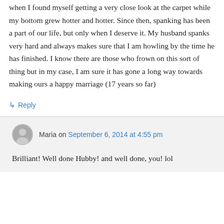when I found myself getting a very close look at the carpet while my bottom grew hotter and hotter. Since then, spanking has been a part of our life, but only when I deserve it. My husband spanks very hard and always makes sure that I am howling by the time he has finished. I know there are those who frown on this sort of thing but in my case, I am sure it has gone a long way towards making ours a happy marriage (17 years so far)
↳ Reply
Maria on September 6, 2014 at 4:55 pm
Brilliant! Well done Hubby! and well done, you! lol